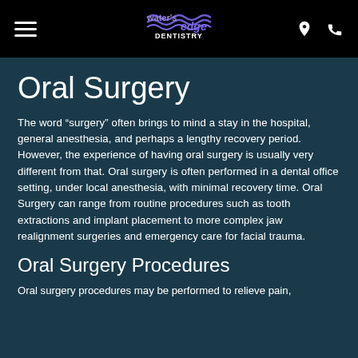Water's Edge Dentistry — navigation header with hamburger menu, logo, location and phone icons
Oral Surgery
The word “surgery” often brings to mind a stay in the hospital, general anesthesia, and perhaps a lengthy recovery period. However, the experience of having oral surgery is usually very different from that. Oral surgery is often performed in a dental office setting, under local anesthesia, with minimal recovery time. Oral Surgery can range from routine procedures such as tooth extractions and implant placement to more complex jaw realignment surgeries and emergency care for facial trauma.
Oral Surgery Procedures
Oral surgery procedures may be performed to relieve pain,